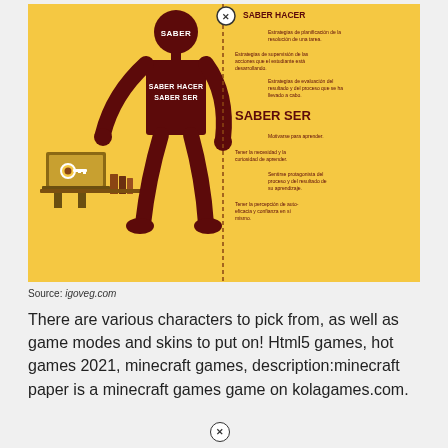[Figure (infographic): Spanish educational infographic on yellow background showing a stick figure person with labels SABER (head), SABER HACER, SABER SER on the body. Right panel has dashed border with two sections: SABER HACER with bullet points about planning, supervision, and evaluation strategies, and SABER SER with bullet points about motivation, curiosity, protagonism, and self-efficacy. A key icon and computer desk are shown near the figure.]
Source: igoveg.com
There are various characters to pick from, as well as game modes and skins to put on! Html5 games, hot games 2021, minecraft games, description:minecraft paper is a minecraft games game on kolagames.com.